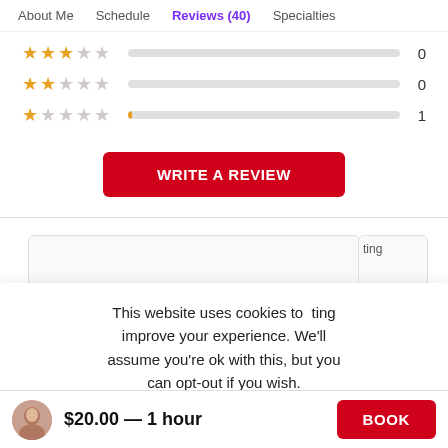About Me   Schedule   Reviews (40)   Specialties
[Figure (other): Star rating rows: 3-star row with 0 count, 2-star row with 0 count, 1-star row with 1 count, each with a horizontal bar track]
WRITE A REVIEW
This website uses cookies to improve your experience. We'll assume you're ok with this, but you can opt-out if you wish.
Cookie settings   ACCEPT
$20.00 — 1 hour   BOOK